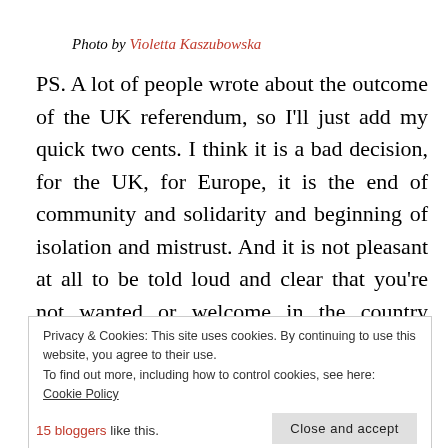Photo by Violetta Kaszubowska
PS. A lot of people wrote about the outcome of the UK referendum, so I'll just add my quick two cents. I think it is a bad decision, for the UK, for Europe, it is the end of community and solidarity and beginning of isolation and mistrust. And it is not pleasant at all to be told loud and clear that you're not wanted or welcome in the country where you lived and worked for the last 5 years.
Privacy & Cookies: This site uses cookies. By continuing to use this website, you agree to their use. To find out more, including how to control cookies, see here: Cookie Policy
15 bloggers like this.